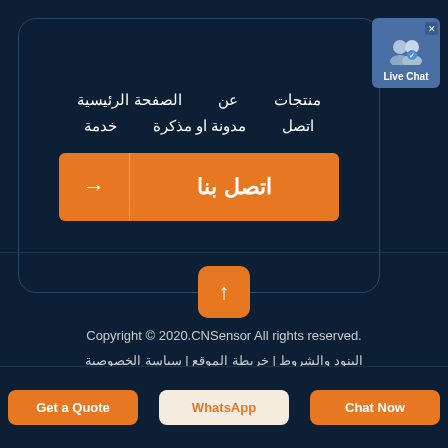[Figure (screenshot): Navigation menu widget with Arabic text links in a dark rounded box]
منتجات
عن
الصفحة الرئيسية
اتصل
مدونة او مذكرة
خدمة
اتصل بنا →
[Figure (screenshot): Live Chat widget button with user icon in top right]
[Figure (illustration): Scroll-to-top orange button with upward arrow]
Copyright © 2020.CNSensor All rights reserved.
البنود والشروط | خربطة الموقع | سياسة الخصوصية
Get a Quote
WhatsApp
Chat Now